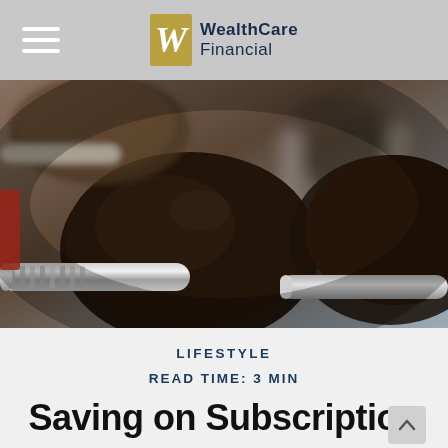WealthCare Financial
[Figure (photo): Close-up photo of rows of dark dumbbells with chrome handles on a gym rack, blurred background]
LIFESTYLE
READ TIME: 3 MIN
Saving on Subscription